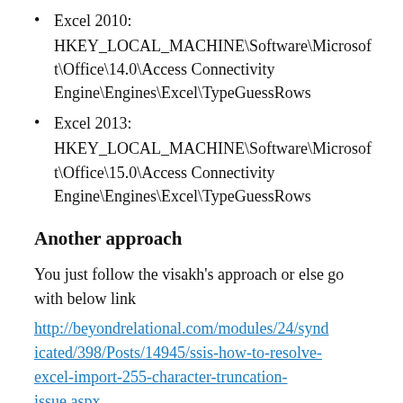Excel 2010: HKEY_LOCAL_MACHINE\Software\Microsoft\Office\14.0\Access Connectivity Engine\Engines\Excel\TypeGuessRows
Excel 2013: HKEY_LOCAL_MACHINE\Software\Microsoft\Office\15.0\Access Connectivity Engine\Engines\Excel\TypeGuessRows
Another approach
You just follow the visakh's approach or else go with below link
http://beyondrelational.com/modules/24/syndicated/398/Posts/14945/ssis-how-to-resolve-excel-import-255-character-truncation-issue.aspx